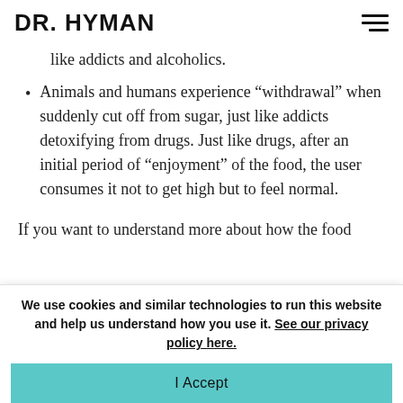DR. HYMAN
like addicts and alcoholics.
Animals and humans experience “withdrawal” when suddenly cut off from sugar, just like addicts detoxifying from drugs. Just like drugs, after an initial period of “enjoyment” of the food, the user consumes it not to get high but to feel normal.
If you want to understand more about how the food
We use cookies and similar technologies to run this website and help us understand how you use it. See our privacy policy here.
I Accept